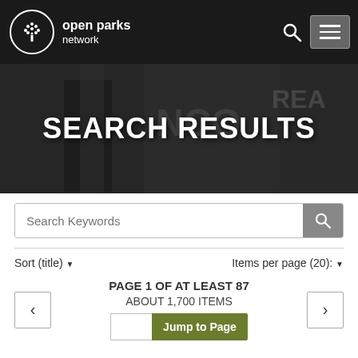open parks network
SEARCH RESULTS
Search Keywords
Sort (title) ▾     Items per page (20): ▾
PAGE 1 OF AT LEAST 87
ABOUT 1,700 ITEMS
Jump to Page